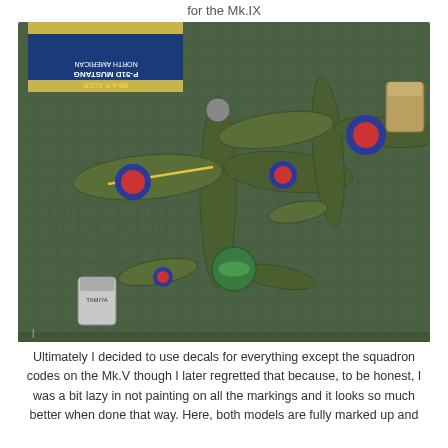for the Mk.IX
[Figure (photo): Top-down view of two British WWII scale model aircraft (Spitfires) painted in RAF camouflage green-grey with roundel markings, placed on a green cutting mat. A Tamiya P-51D Mustang model box and paint pots are visible in the background.]
Ultimately I decided to use decals for everything except the squadron codes on the Mk.V though I later regretted that because, to be honest, I was a bit lazy in not painting on all the markings and it looks so much better when done that way. Here, both models are fully marked up and